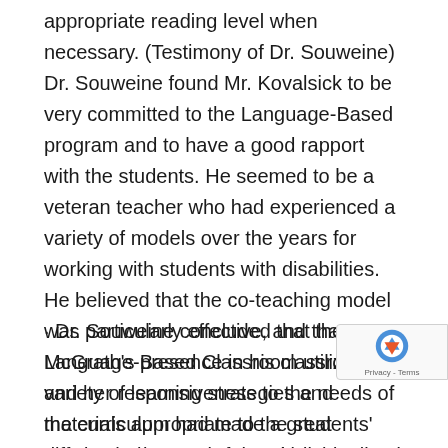appropriate reading level when necessary. (Testimony of Dr. Souweine) Dr. Souweine found Mr. Kovalsick to be very committed to the Language-Based program and to have a good rapport with the students. He seemed to be a veteran teacher who had experienced a variety of models over the years for working with students with disabilities. He believed that the co-teaching model was particularly effective, and that Ms. McGrath's presence in his classroom and her responsiveness to the needs of the curriculum had made a great difference in terms of the ultimate success of the integration. (Testimony of Dr. Souweine)
· Dr. Souweine concluded that the Language-Based Classroom utilized a variety of learning strategies and materials appropriate to the students' needs, the instruction was individualized and well thought out 4) The teachers were encouraging and positive and appeared well-versed in remedial approaches. Materials